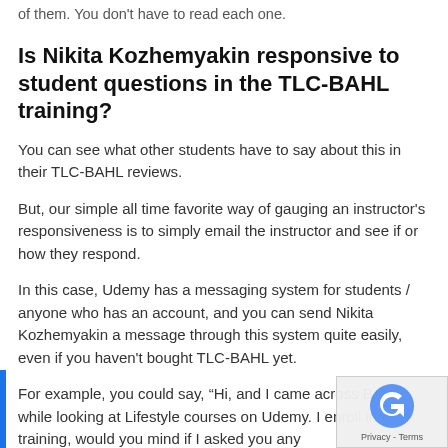of them. You don't have to read each one.
Is Nikita Kozhemyakin responsive to student questions in the TLC-BAHL training?
You can see what other students have to say about this in their TLC-BAHL reviews.
But, our simple all time favorite way of gauging an instructor's responsiveness is to simply email the instructor and see if or how they respond.
In this case, Udemy has a messaging system for students / anyone who has an account, and you can send Nikita Kozhemyakin a message through this system quite easily, even if you haven't bought TLC-BAHL yet.
For example, you could say, “Hi, and I came across BAHL while looking at Lifestyle courses on Udemy. I enroll in your training, would you mind if I asked you any